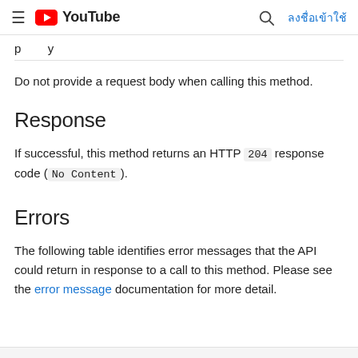≡ YouTube  🔍 ลงชื่อเข้าใช้
p   y
Do not provide a request body when calling this method.
Response
If successful, this method returns an HTTP 204 response code (No Content).
Errors
The following table identifies error messages that the API could return in response to a call to this method. Please see the error message documentation for more detail.